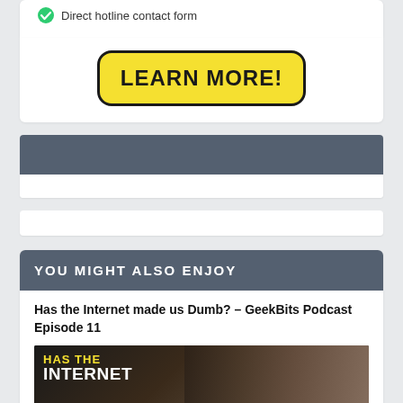Direct hotline contact form
LEARN MORE!
[Figure (other): Dark blue-gray banner/advertisement block with header and white body]
[Figure (other): White advertisement block strip]
YOU MIGHT ALSO ENJOY
Has the Internet made us Dumb? – GeekBits Podcast Episode 11
[Figure (photo): Podcast thumbnail image with text overlaid: HAS THE INTERNET MADE US - in yellow and white bold text on dark background]